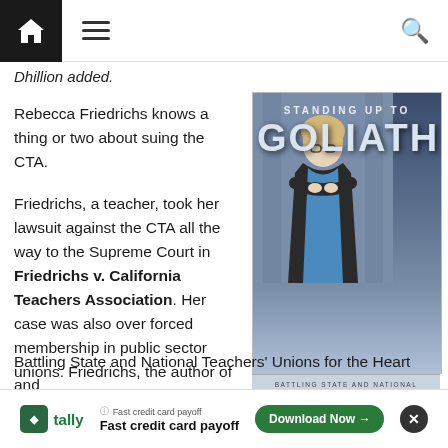Navigation bar with home, menu, and search icons
Dhillion added.
Rebecca Friedrichs knows a thing or two about suing the CTA.

Friedrichs, a teacher, took her lawsuit against the CTA all the way to the Supreme Court in Friedrichs v. California Teachers Association. Her case was also over forced membership in public sector unions. Friedrichs, the author of Standing Up to Goliath: Battling State and National Teachers' Unions for the Heart and
[Figure (photo): Book cover of 'Standing Up to Goliath' by Rebecca Friedrichs. Shows a woman with blonde hair and glasses in a black jacket and blue dress with arms crossed, posed in front of columns. Title text in large silver/grey letters. Subtitle reads: Battling State and National Teachers' Unions for the Heart and Soul of our Kids and Country.]
Battling State and National Teachers' Unions for the Heart and